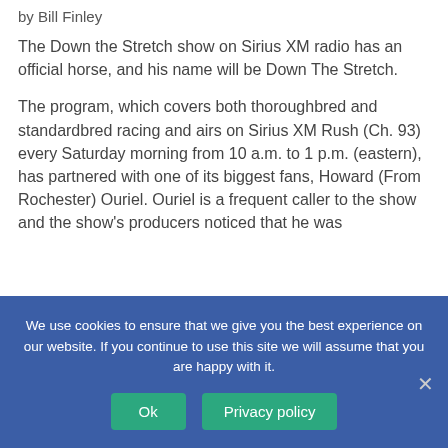by Bill Finley
The Down the Stretch show on Sirius XM radio has an official horse, and his name will be Down The Stretch.
The program, which covers both thoroughbred and standardbred racing and airs on Sirius XM Rush (Ch. 93) every Saturday morning from 10 a.m. to 1 p.m. (eastern), has partnered with one of its biggest fans, Howard (From Rochester) Ouriel. Ouriel is a frequent caller to the show and the show's producers noticed that he was
We use cookies to ensure that we give you the best experience on our website. If you continue to use this site we will assume that you are happy with it.
Ok
Privacy policy